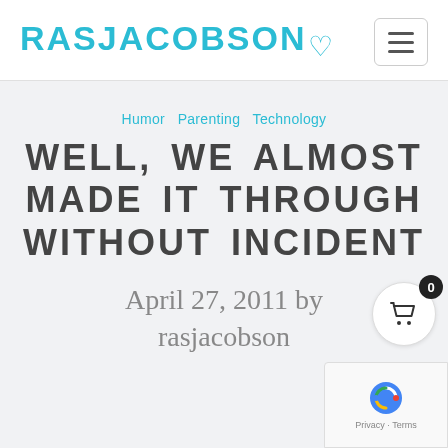RASJACOBSON ♡
Humor Parenting Technology
WELL, WE ALMOST MADE IT THROUGH WITHOUT INCIDENT
April 27, 2011 by rasjacobson
[Figure (other): Shopping cart icon with badge showing 0]
[Figure (other): reCAPTCHA widget with Privacy and Terms links]